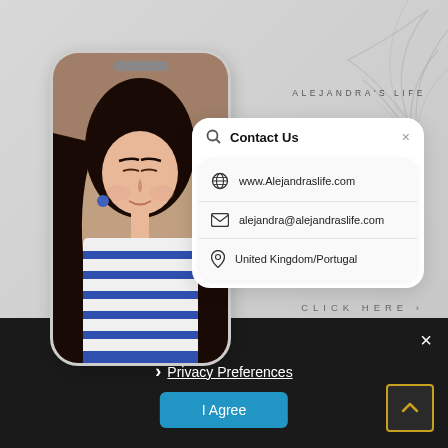[Figure (screenshot): Mobile phone mockup showing a contact page for 'Alejandra's Life' blog/website with a photo of a young woman with dark hair wearing a blue and white striped shirt. A contact card overlay shows website URL, email, and location.]
ALEJANDRA'S LIFE
Contact Us
www.Alejandraslife.com
alejandra@alejandraslife.com
United Kingdom/Portugal
CLICK HERE
× (close)
❯ Privacy Preferences
I Agree